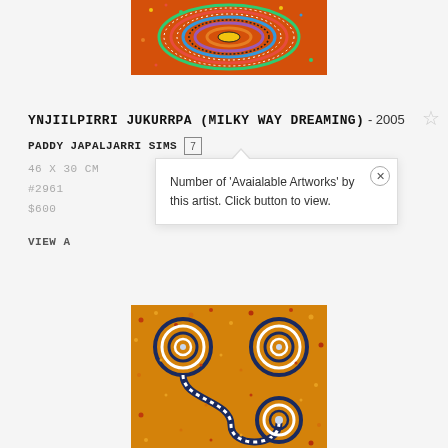[Figure (photo): Aboriginal dot painting artwork showing circular concentric patterns in red, orange, yellow, green, blue, purple colors]
YNJIILPIRRI JUKURRPA (MILKY WAY DREAMING) - 2005
PADDY JAPALJARRI SIMS [7]
46 X 30 CM
#2961
$600
VIEW A...
Number of 'Avaialable Artworks' by this artist. Click button to view.
[Figure (photo): Aboriginal dot painting artwork showing curved serpentine patterns and circular concentric rings in dark blue/navy on orange/yellow background]